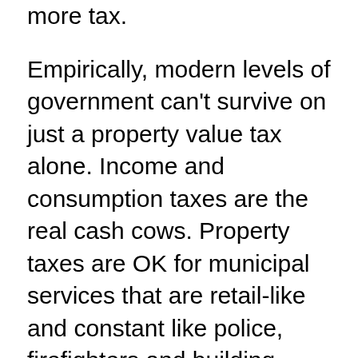more tax.
Empirically, modern levels of government can't survive on just a property value tax alone. Income and consumption taxes are the real cash cows. Property taxes are OK for municipal services that are retail-like and constant like police, firefighters and building inspectors. In Ontario we also fund Welfare out of property taxes and it makes for a rather dysfunctional system. It is generally agreed that paying welfare out of general provincial revenues (income tax) was more fair to